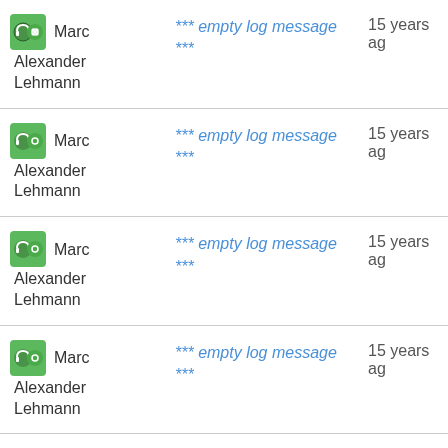Marc Alexander Lehmann | *** empty log message *** | 15 years ago
Marc Alexander Lehmann | *** empty log message *** | 15 years ago
Marc Alexander Lehmann | *** empty log message *** | 15 years ago
Marc Alexander Lehmann | *** empty log message *** | 15 years ago
Marc Alexander Lehmann | *** empty log message *** | 15 years ago